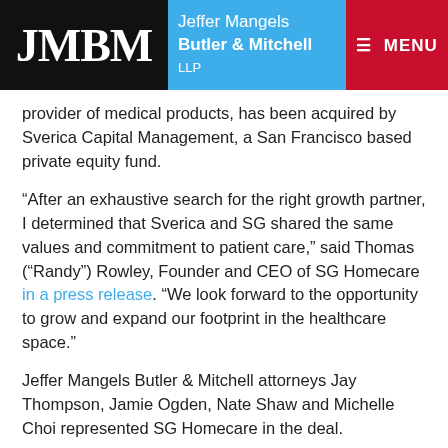JMBM | Jeffer Mangels Butler & Mitchell LLP | MENU
provider of medical products, has been acquired by Sverica Capital Management, a San Francisco based private equity fund.
“After an exhaustive search for the right growth partner, I determined that Sverica and SG shared the same values and commitment to patient care,” said Thomas (“Randy”) Rowley, Founder and CEO of SG Homecare in a press release. “We look forward to the opportunity to grow and expand our footprint in the healthcare space.”
Jeffer Mangels Butler & Mitchell attorneys Jay Thompson, Jamie Ogden, Nate Shaw and Michelle Choi represented SG Homecare in the deal.
“We are pleased to have achieved this excellent